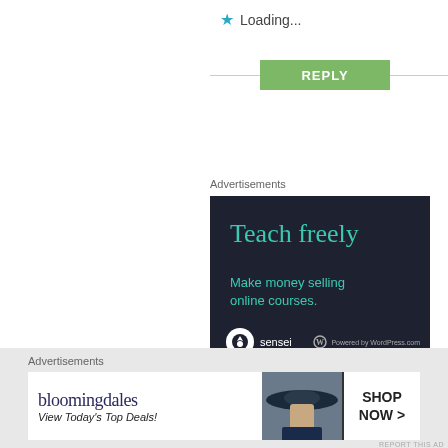Loading...
REPLY
Advertisements
[Figure (illustration): Dark navy advertisement box for Sensei/WordPress.com reading 'Teach freely — Make money selling online courses.' with teal text, Sensei logo and 'Powered by WordPress.com' at the bottom.]
REPORT THIS AD
Advertisements
[Figure (illustration): Bloomingdale's banner ad with text 'bloomingdales View Today's Top Deals!' and a woman wearing a wide-brim hat on the right, with a 'SHOP NOW >' button.]